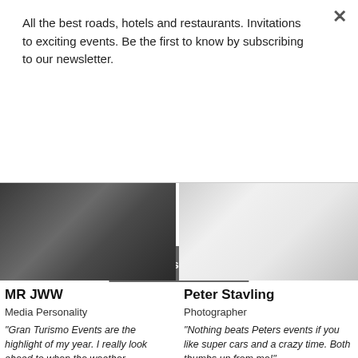All the best roads, hotels and restaurants. Invitations to exciting events. Be the first to know by subscribing to our newsletter.
Subscribe
[Figure (photo): Black and white headshot of MR JWW, a bearded man smiling]
MR JWW
Media Personality
"Gran Turismo Events are the highlight of my year. I really look ahead to when the weather improves, the road trips begin and the Nurburgring beckons! Gran Turismo runs an event like no
[Figure (photo): Black and white headshot of Peter Stavling, a bald man in a suit]
Peter Stavling
Photographer
"Nothing beats Peters events if you like super cars and a crazy time. Both thumbs up from me!"